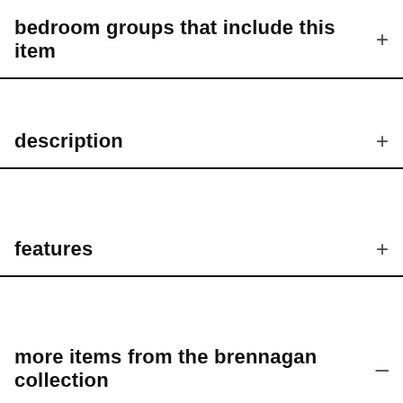bedroom groups that include this item
description
features
more items from the brennagan collection
Leave a message